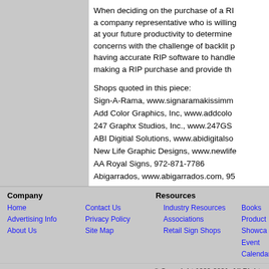When deciding on the purchase of a RI... a company representative who is willing... at your future productivity to determine... concerns with the challenge of backlit p... having accurate RIP software to handle... making a RIP purchase and provide th...
Shops quoted in this piece:
Sign-A-Rama, www.signaramakissimm...
Add Color Graphics, Inc, www.addcolo...
247 Graphx Studios, Inc., www.247GS...
ABI Digitial Solutions, www.abidigitalso...
New Life Graphic Designs, www.newlife...
AA Royal Signs, 972-871-7786
Abigarrados, www.abigarrados.com, 95...
Company | Resources | Home | Contact Us | Industry Resources | Books | Advertising Info | Privacy Policy | Associations | Product Showcase | About Us | Site Map | Retail Sign Shops | Event Calendar | © Copyright 1999-2021, All Rights